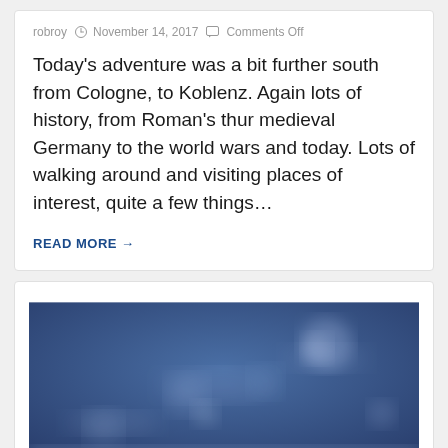robroy   November 14, 2017   Comments Off
Today's adventure was a bit further south from Cologne, to Koblenz.  Again lots of history, from Roman's thur medieval Germany to the world wars and today. Lots of walking around and visiting places of interest, quite a few things…
READ MORE →
[Figure (photo): Blue sky with clouds, slightly blurry/bokeh effect]